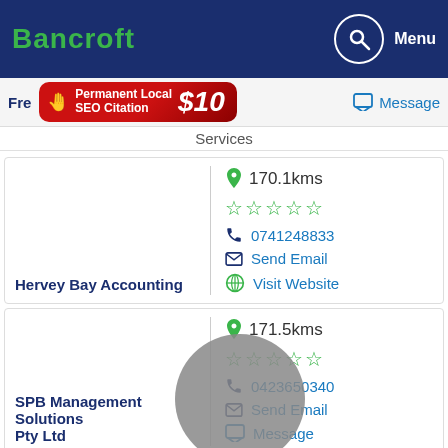Bancroft
[Figure (infographic): Red ad banner: Permanent Local SEO Citation $10]
Services
Message
170.1kms
5 star rating (empty stars)
0741248833
Send Email
Visit Website
Hervey Bay Accounting
171.5kms
5 star rating (empty stars)
0423650340
Send Email
Message
SPB Management Solutions Pty Ltd